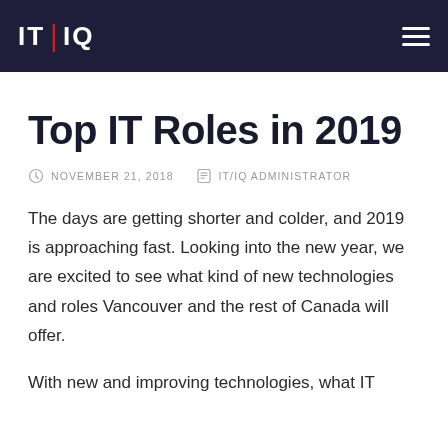IT|IQ
Top IT Roles in 2019
NOVEMBER 21, 2018   IT/IQ ADMINISTRATOR
The days are getting shorter and colder, and 2019 is approaching fast. Looking into the new year, we are excited to see what kind of new technologies and roles Vancouver and the rest of Canada will offer.
With new and improving technologies, what IT